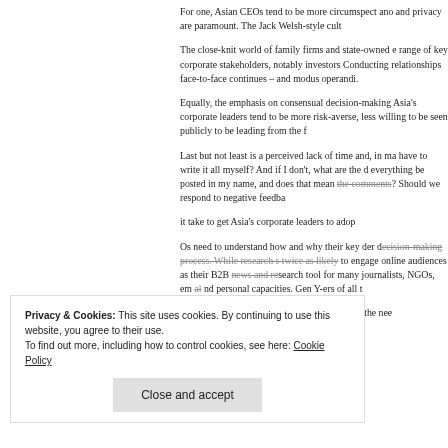For one, Asian CEOs tend to be more circumspect and privacy are paramount. The Jack Welsh-style cult
The close-knit world of family firms and state-owned en range of key corporate stakeholders, notably investors Conducting relationships face-to-face continues – and modus operandi.
Equally, the emphasis on consensual decision-making Asia's corporate leaders tend to be more risk-averse, less willing to be seen publicly to be leading from the f
Last but not least is a perceived lack of time and, in ma have to write it all myself? And if I don't, what are the d everything be posted in my name, and does that mean the comments? Should we respond to negative feedba
it take to get Asia's corporate leaders to adop
Os need to understand how and why their key der decision-making process. While research s twice as likely to engage online audiences as their B2B news and research tool for many journalists, NGOs, e and personal capacities. Gen Y-ers of all t
And while expansion into foreign markets and the nee
Privacy & Cookies: This site uses cookies. By continuing to use this website, you agree to their use. To find out more, including how to control cookies, see here: Cookie Policy
Close and accept